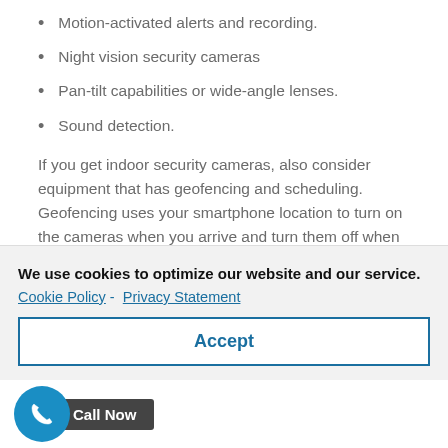Motion-activated alerts and recording.
Night vision security cameras
Pan-tilt capabilities or wide-angle lenses.
Sound detection.
If you get indoor security cameras, also consider equipment that has geofencing and scheduling. Geofencing uses your smartphone location to turn on the cameras when you arrive and turn them off when you leave. Two-way talk could be a beneficial feature for your security cameras as well.
We use cookies to optimize our website and our service.
Cookie Policy - Privacy Statement
Accept
Call Now
monitoring services extend to gate access surveillance systems. While CCTV installation is the first step to take